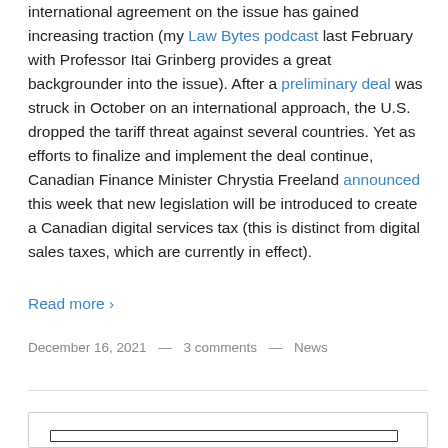international agreement on the issue has gained increasing traction (my Law Bytes podcast last February with Professor Itai Grinberg provides a great backgrounder into the issue). After a preliminary deal was struck in October on an international approach, the U.S. dropped the tariff threat against several countries. Yet as efforts to finalize and implement the deal continue, Canadian Finance Minister Chrystia Freeland announced this week that new legislation will be introduced to create a Canadian digital services tax (this is distinct from digital sales taxes, which are currently in effect).
Read more ›
December 16, 2021 — 3 comments — News